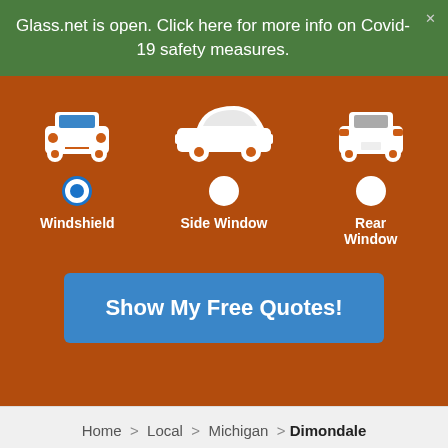Glass.net is open. Click here for more info on Covid-19 safety measures.
[Figure (illustration): Orange hero section with three car view options: Windshield (front view, selected with blue radio button), Side Window (side view), and Rear Window (rear view). Background shows orange-tinted car interior image.]
Show My Free Quotes!
Home > Local > Michigan > Dimondale
We use cookies to enhance your experience. Cookie settings